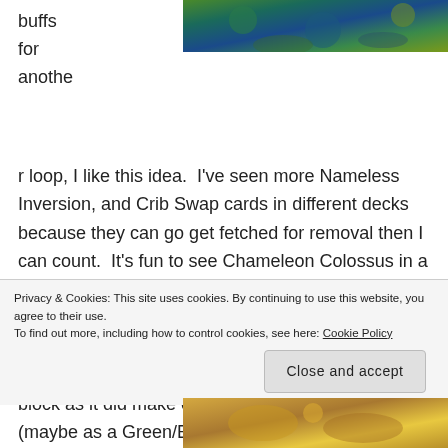[Figure (photo): Colorful bird plumage in green, teal, and blue tones, cropped at top of page]
buffs for another loop, I like this idea.  I've seen more Nameless Inversion, and Crib Swap cards in different decks because they can go get fetched for removal then I can count.  It's fun to see Chameleon Colossus in a Merfolk deck, and it opens deck ideas.  I was playing a Reaper King deck with changelings as my Scarecrows.  Why? Because I can.  If this gets brought back again, have it be for the next tribal block as it did make everything more interesting (maybe as a Green/Blue mechanic only)
Privacy & Cookies: This site uses cookies. By continuing to use this website, you agree to their use.
To find out more, including how to control cookies, see here: Cookie Policy
Close and accept
[Figure (photo): Colorful illustration or photo with golden and warm tones at bottom of page]